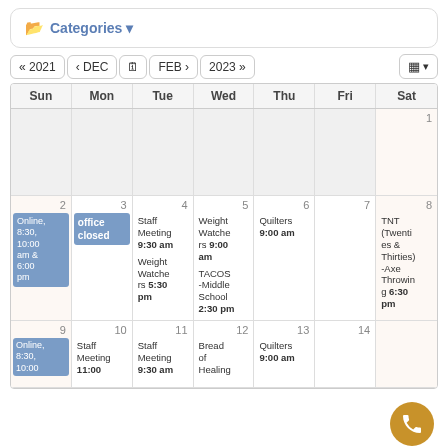[Figure (screenshot): Calendar interface showing January 2022 with navigation controls (« 2021, < DEC, calendar icon, FEB >, 2023 »), week view toggle, days of week headers (Sun through Sat), and event entries for dates 1-14 including: date 2 has Online 8:30 10:00 am & 6:00 pm (blue); date 3 has office closed (blue); date 4 has Staff Meeting 9:30 am and Weight Watchers 5:30 pm; date 5 has Weight Watchers 9:00 am and TACOS-Middle School 2:30 pm; date 6 has Quilters 9:00 am; date 7 is empty; date 8 has TNT (Twenties & Thirties)-Axe Throwing 6:30 pm; date 9 has Online 8:30 10:00 (blue); date 10 has Staff Meeting 11:00; date 11 has Staff Meeting 9:30 am; date 12 has Bread of Healing; date 13 has Quilters 9:00 am; date 14 is empty. A golden phone button appears bottom right.]